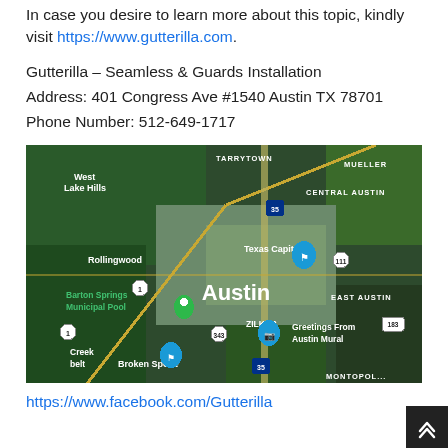In case you desire to learn more about this topic, kindly visit https://www.gutterilla.com.
Gutterilla – Seamless & Guards Installation
Address: 401 Congress Ave #1540 Austin TX 78701
Phone Number: 512-649-1717
[Figure (map): Aerial satellite map of Austin, TX showing landmarks including Texas Capitol, Barton Springs Municipal Pool, Rollingwood, West Lake Hills, Tarrytown, Central Austin, Mueller, East Austin, Zilker, Greetings From Austin Mural, Broken Spoke, and route markers for highways 1, 35, 111, 183, 343.]
https://www.facebook.com/Gutterilla